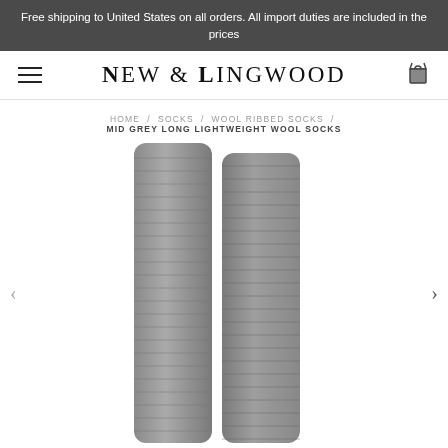Free shipping to United States on all orders. All import duties are included in the prices
NEW & LINGWOOD
HOME / SOCKS / WOOL RIBBED SOCKS / MID GREY LONG LIGHTWEIGHT WOOL SOCKS
[Figure (photo): Two mid grey long lightweight wool ribbed socks laid flat side by side, shown in full length on a white background]